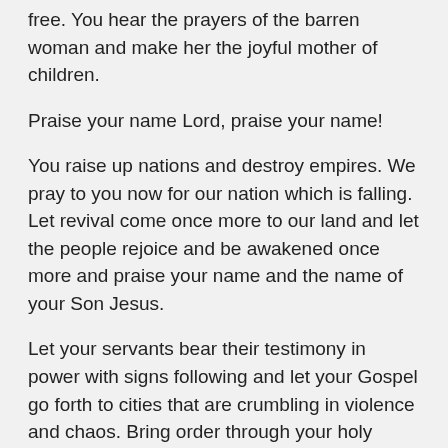free. You hear the prayers of the barren woman and make her the joyful mother of children.
Praise your name Lord, praise your name!
You raise up nations and destroy empires. We pray to you now for our nation which is falling. Let revival come once more to our land and let the people rejoice and be awakened once more and praise your name and the name of your Son Jesus.
Let your servants bear their testimony in power with signs following and let your Gospel go forth to cities that are crumbling in violence and chaos. Bring order through your holy Spirit to your church and this country. Let the people of this nation rise up and praise your name once more while there is yet day. Let everyone proclaim: